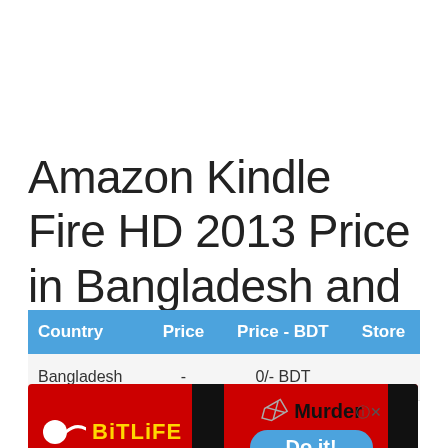Amazon Kindle Fire HD 2013 Price in Bangladesh and Available Countries
| Country | Price | Price - BDT | Store |
| --- | --- | --- | --- |
| Bangladesh | - | 0/- BDT |  |
[Figure (screenshot): BitLife mobile game advertisement banner showing red background with BitLife logo (sperm icon and yellow BITLIFE text), a knife, the word 'Murder', and a blue 'Do it!' button. Partially overlays the table.]